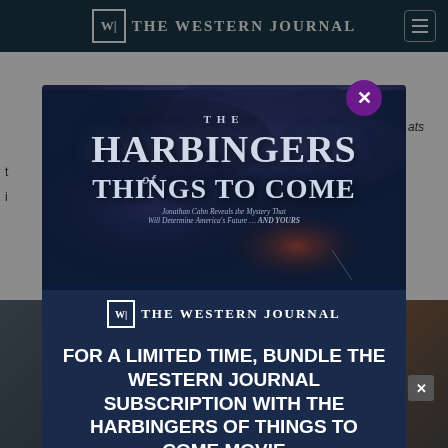THE WESTERN JOURNAL
[Figure (screenshot): Modal advertisement overlay on The Western Journal website. The modal shows a movie poster for 'The Harbingers of Things to Come' with tagline 'Jonathan Cahn Reveals the Mystery That Will Determine America's Future ... AND YOURS', The Western Journal logo, and promotional text: 'FOR A LIMITED TIME, BUNDLE THE WESTERN JOURNAL SUBSCRIPTION WITH THE HARBINGERS OF THINGS TO COME MOVIE'. A purple close button with X is in the upper right of the modal. A red button appears at the bottom.]